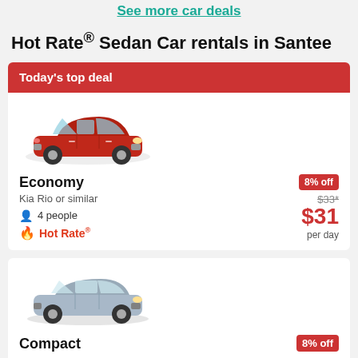See more car deals
Hot Rate® Sedan Car rentals in Santee
Today's top deal
[Figure (photo): Red Kia Rio sedan car image]
Economy
Kia Rio or similar
4 people
Hot Rate®
8% off
$33*
$31
per day
[Figure (photo): Silver/gray compact sedan car image]
Compact
8% off